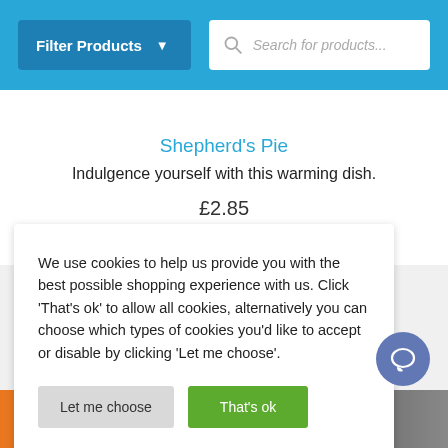Filter Products | Search for products...
Shepherd's Pie
Indulgence yourself with this warming dish.
£2.85
We use cookies to help us provide you with the best possible shopping experience with us. Click 'That's ok' to allow all cookies, alternatively you can choose which types of cookies you'd like to accept or disable by clicking 'Let me choose'.
Let me choose
That's ok